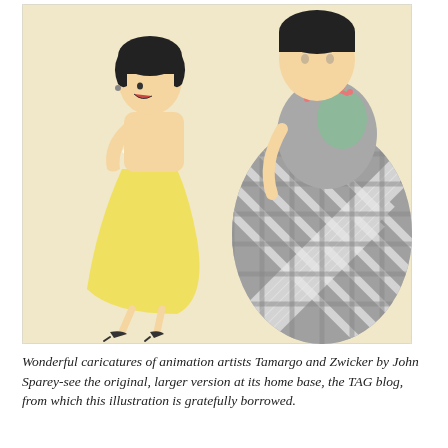[Figure (illustration): Cartoon caricature illustration of two animation artists (Tamargo and Zwicker) by John Sparey. One figure is a shorter woman in a yellow dress with dark bobbed hair, shown mid-step with heels. The other is a taller woman seated in a chair wearing a grey plaid/checkered dress with a green collar and a red pearl necklace. The background is a warm cream/yellow color.]
Wonderful caricatures of animation artists Tamargo and Zwicker by John Sparey-see the original, larger version at its home base, the TAG blog, from which this illustration is gratefully borrowed.